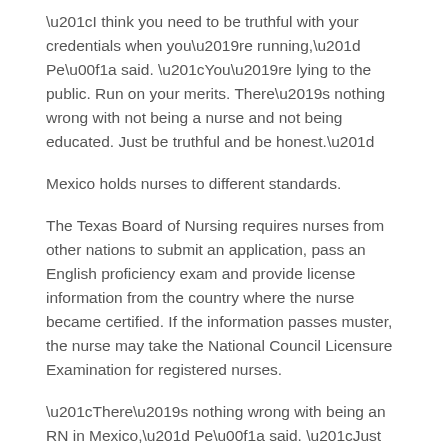“I think you need to be truthful with your credentials when you’re running,” Peña said. “You’re lying to the public. Run on your merits. There’s nothing wrong with not being a nurse and not being educated. Just be truthful and be honest.”
Mexico holds nurses to different standards.
The Texas Board of Nursing requires nurses from other nations to submit an application, pass an English proficiency exam and provide license information from the country where the nurse became certified. If the information passes muster, the nurse may take the National Council Licensure Examination for registered nurses.
“There’s nothing wrong with being an RN in Mexico,” Peña said. “Just disclose it.”
[Figure (infographic): Social media share buttons: Facebook (blue with f icon), Twitter (blue with bird icon), and a Plus/share button (blue with + icon)]
Posted in News